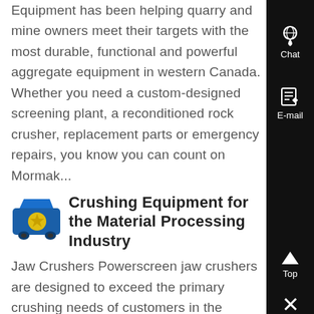Equipment has been helping quarry and mine owners meet their targets with the most durable, functional and powerful aggregate equipment in western Canada. Whether you need a custom-designed screening plant, a reconditioned rock crusher, replacement parts or emergency repairs, you know you can count on Mormak...
[Figure (illustration): Blue industrial crushing machine icon with yellow star emblem]
Crushing Equipment for the Material Processing Industry
Jaw Crushers Powerscreen jaw crushers are designed to exceed the primary crushing needs of customers in the mining, quarrying and recycling industries. These machines are amongst the most...